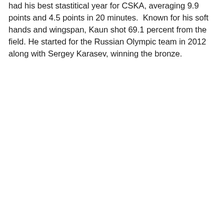had his best stastitical year for CSKA, averaging 9.9 points and 4.5 points in 20 minutes.  Known for his soft hands and wingspan, Kaun shot 69.1 percent from the field. He started for the Russian Olympic team in 2012 along with Sergey Karasev, winning the bronze.